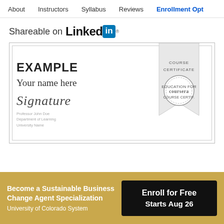About   Instructors   Syllabus   Reviews   Enrollment Opt
Shareable on LinkedIn
[Figure (illustration): Example Coursera course certificate showing 'EXAMPLE / Your name here', a signature, signatory details, and a ribbon banner with 'COURSE CERTIFICATE' and a Coursera seal stamp.]
Become a Sustainable Business Change Agent Specialization
University of Colorado System
Enroll for Free
Starts Aug 26